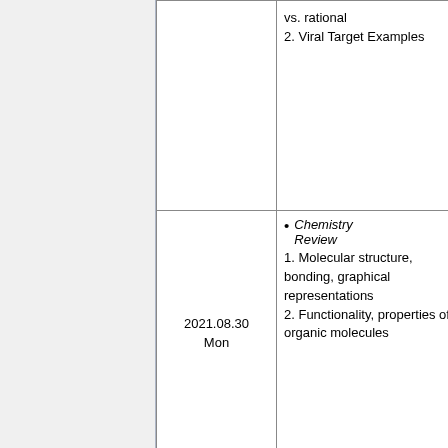| Date | Topics | Links |
| --- | --- | --- |
|  | vs. rational
2. Viral Target Examples | Riz...
mp... |
| 2021.08.30
Mon | • Chemistry Review
1. Molecular structure, bonding, graphical representations
2. Functionality, properties of organic molecules | Riz...
mp...

Riz... |
| 2021.09.01 | • Biomolecular Structure
1. Lipids, | Riz...
mp... |